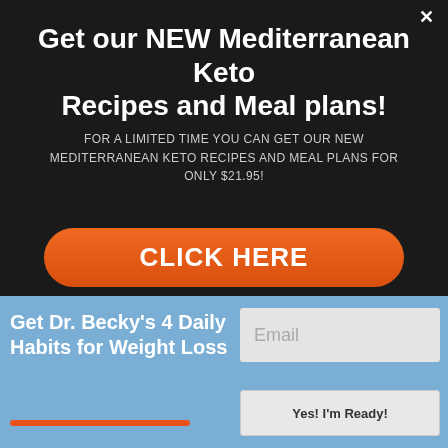Get our NEW Mediterranean Keto Recipes and Meal plans!
FOR A LIMITED TIME YOU CAN GET OUR NEW MEDITERRANEAN KETO RECIPES AND MEAL PLANS FOR ONLY $21.95!
CLICK HERE
Going Sugar Free
Health Conditions
Get Dr. Becky's 4 Daily Habits for Weight Loss
Email
Yes! I'm Ready!